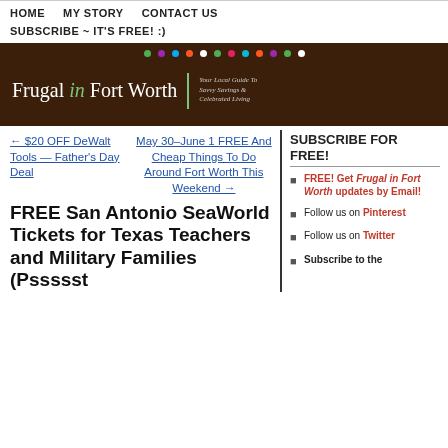HOME   MY STORY   CONTACT US   SUBSCRIBE ~ IT'S FREE! :)
[Figure (logo): Frugal in Fort Worth banner logo with colored dots on dark brown background and tagline: Your Local Guide To Savvy Savings & Celebrated Living]
← $20 OFF DeWalt Tools — Father's Day Deal
May 30–June 1 FREE And Cheap Things To Do Around Fort Worth This Weekend →
SUBSCRIBE FOR FREE!
FREE! Get Frugal in Fort Worth updates by Email!
Follow us on Pinterest
Follow us on Twitter
Subscribe to the
FREE San Antonio SeaWorld Tickets for Texas Teachers and Military Families (Pssssst